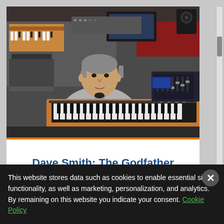[Figure (photo): A man (Dave Smith) sitting in a music studio surrounded by synthesizers and keyboards, wearing a grey sweater, looking at the camera]
Dave Smith: The Godfather
This website stores data such as cookies to enable essential site functionality, as well as marketing, personalization, and analytics. By remaining on this website you indicate your consent. Cookie Policy